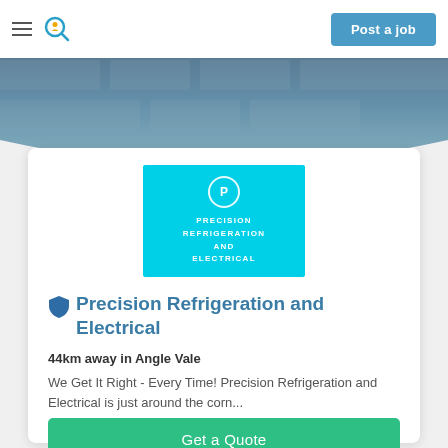Post a job
[Figure (photo): Background hero image showing stone/brick texture with a curved white edge at the bottom]
[Figure (logo): Cyan/teal square logo for Precision Refrigeration and Electrical with white circle containing letter P]
Precision Refrigeration and Electrical
44km away in Angle Vale
We Get It Right - Every Time! Precision Refrigeration and Electrical is just around the corn...
Get a Quote